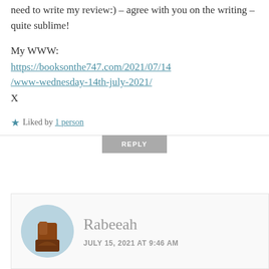need to write my review:) – agree with you on the writing – quite sublime!
My WWW:
https://booksonthe747.com/2021/07/14/www-wednesday-14th-july-2021/
X
Liked by 1 person
REPLY
Rabeeah
JULY 15, 2021 AT 9:46 AM